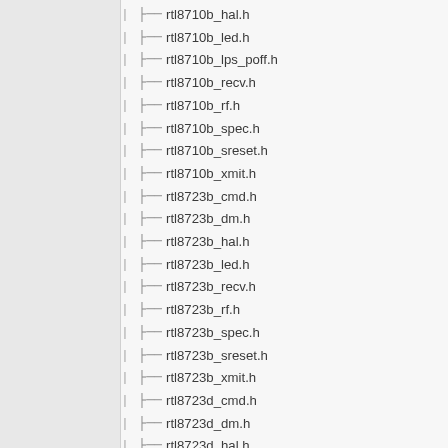| ├── rtl8710b_hal.h
| ├── rtl8710b_led.h
| ├── rtl8710b_lps_poff.h
| ├── rtl8710b_recv.h
| ├── rtl8710b_rf.h
| ├── rtl8710b_spec.h
| ├── rtl8710b_sreset.h
| ├── rtl8710b_xmit.h
| ├── rtl8723b_cmd.h
| ├── rtl8723b_dm.h
| ├── rtl8723b_hal.h
| ├── rtl8723b_led.h
| ├── rtl8723b_recv.h
| ├── rtl8723b_rf.h
| ├── rtl8723b_spec.h
| ├── rtl8723b_sreset.h
| ├── rtl8723b_xmit.h
| ├── rtl8723d_cmd.h
| ├── rtl8723d_dm.h
| ├── rtl8723d_hal.h
| ├── rtl8723d_led.h